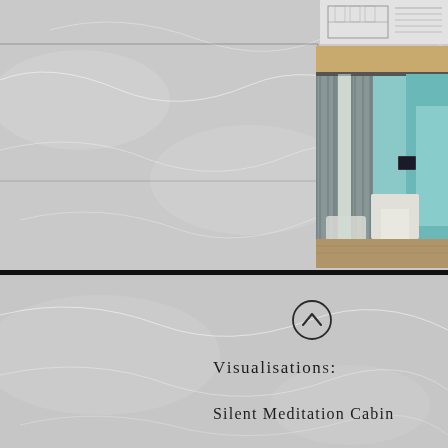[Figure (illustration): Top section with stone/marble textured background divided into grid cells, with an architectural line drawing in the top-right corner and an interior 3D render showing teal curtains, white chairs, and wood beams on the right side]
[Figure (photo): Interior room visualisation render showing blue-teal curtains on metal rails, white lounge chairs, exposed wood beam ceiling, and aqua/teal wall panel]
[Figure (illustration): Circle with upward-pointing chevron/arrow icon]
Visualisations:
Silent Meditation Cabin